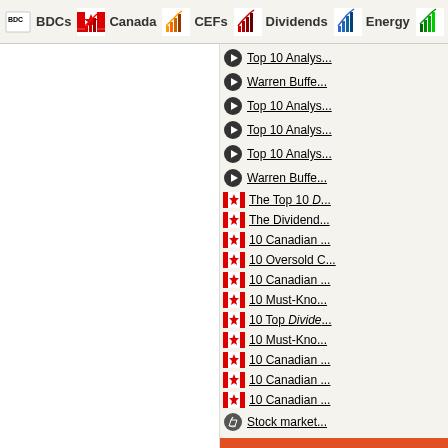BDCs | Canada | CEFs | Dividends | Energy
Top 10 Analys...
Warren Buffe...
Top 10 Analys...
Top 10 Analys...
Top 10 Analys...
Warren Buffe...
The Top 10 D...
The Dividend...
10 Canadian ...
10 Oversold C...
10 Canadian ...
10 Must-Know...
10 Top Divide...
10 Must-Know...
10 Canadian ...
10 Canadian ...
10 Canadian ...
Stock market...
ADVERTISING O...